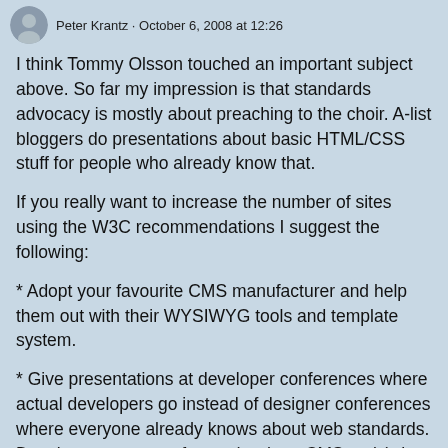Peter Krantz · October 6, 2008 at 12:26
I think Tommy Olsson touched an important subject above. So far my impression is that standards advocacy is mostly about preaching to the choir. A-list bloggers do presentations about basic HTML/CSS stuff for people who already know that.
If you really want to increase the number of sites using the W3C recommendations I suggest the following:
* Adopt your favourite CMS manufacturer and help them out with their WYSIWYG tools and template system.
* Give presentations at developer conferences where actual developers go instead of designer conferences where everyone already knows about web standards. Developers create software (such as CMS tools) that output HTML.